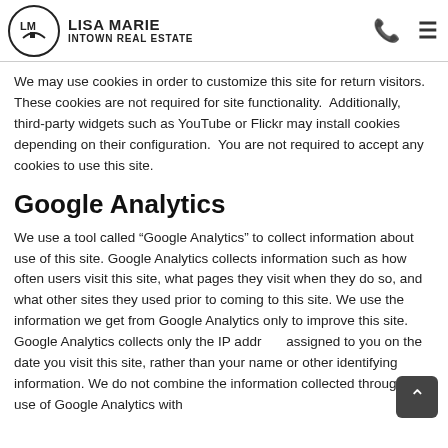LISA MARIE INTOWN REAL ESTATE
We may use cookies in order to customize this site for return visitors.  These cookies are not required for site functionality.  Additionally, third-party widgets such as YouTube or Flickr may install cookies depending on their configuration.  You are not required to accept any cookies to use this site.
Google Analytics
We use a tool called “Google Analytics” to collect information about use of this site. Google Analytics collects information such as how often users visit this site, what pages they visit when they do so, and what other sites they used prior to coming to this site. We use the information we get from Google Analytics only to improve this site. Google Analytics collects only the IP address assigned to you on the date you visit this site, rather than your name or other identifying information. We do not combine the information collected through the use of Google Analytics with